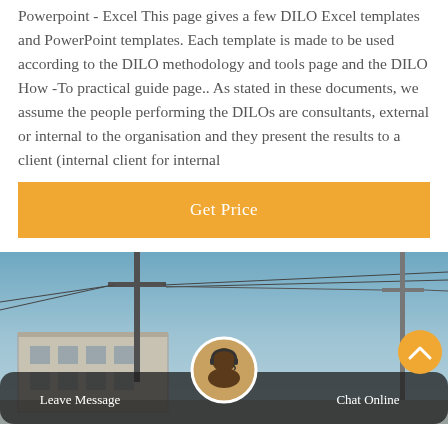Powerpoint - Excel This page gives a few DILO Excel templates and PowerPoint templates. Each template is made to be used according to the DILO methodology and tools page and the DILO How -To practical guide page.. As stated in these documents, we assume the people performing the DILOs are consultants, external or internal to the organisation and they present the results to a client (internal client for internal
Get Price
[Figure (photo): Street scene with utility poles, wires, a building facade in the background under a blue sky, with a bottom chat bar overlay.]